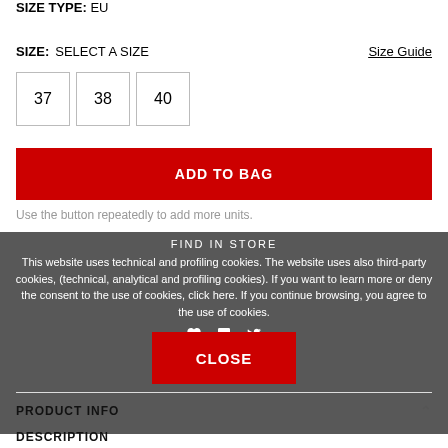SIZE TYPE: EU
SIZE: SELECT A SIZE
Size Guide
37
38
40
ADD TO BAG
Use the button repeatedly to add more units.
FIND IN STORE
This website uses technical and profiling cookies. The website uses also third-party cookies, (technical, analytical and profiling cookies). If you want to learn more or deny the consent to the use of cookies, click here. If you continue browsing, you agree to the use of cookies.
CLOSE
PRODUCT INFO
DESCRIPTION